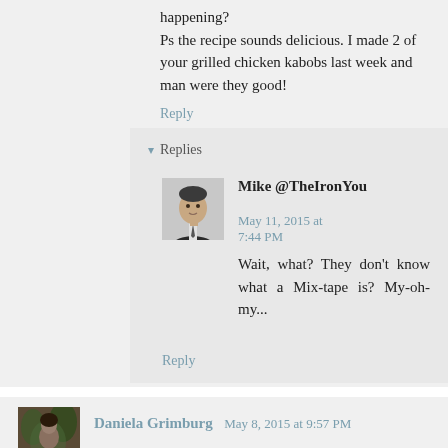happening?
Ps the recipe sounds delicious. I made 2 of your grilled chicken kabobs last week and man were they good!
Reply
▾ Replies
[Figure (photo): Black and white headshot photo of Mike]
Mike @TheIronYou   May 11, 2015 at 7:44 PM
Wait, what? They don't know what a Mixtape is? My-oh-my...
Reply
[Figure (photo): Color photo of Daniela Grimburg]
Daniela Grimburg  May 8, 2015 at 9:57 PM